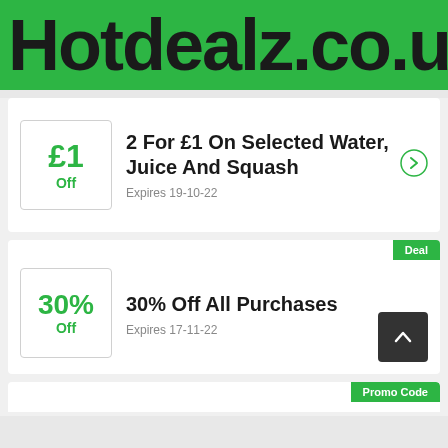Hotdealz.co.uk
£1 Off — 2 For £1 On Selected Water, Juice And Squash — Expires 19-10-22
30% Off — 30% Off All Purchases — Expires 17-11-22 — Deal
Promo Code